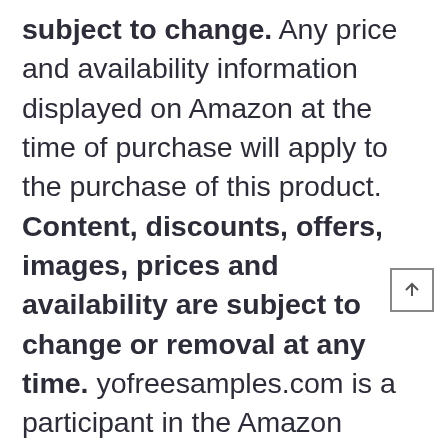subject to change. Any price and availability information displayed on Amazon at the time of purchase will apply to the purchase of this product. Content, discounts, offers, images, prices and availability are subject to change or removal at any time. yofreesamples.com is a participant in the Amazon Services LLC Associates Program, an affiliate advertising program designed to provide a means for sites to earn